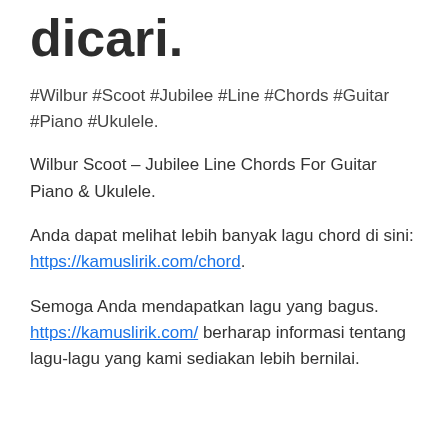dicari.
#Wilbur #Scoot #Jubilee #Line #Chords #Guitar #Piano #Ukulele.
Wilbur Scoot – Jubilee Line Chords For Guitar Piano & Ukulele.
Anda dapat melihat lebih banyak lagu chord di sini: https://kamuslirik.com/chord.
Semoga Anda mendapatkan lagu yang bagus. https://kamuslirik.com/ berharap informasi tentang lagu-lagu yang kami sediakan lebih bernilai.